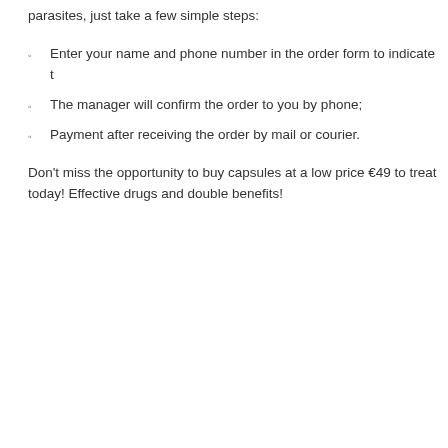parasites, just take a few simple steps:
Enter your name and phone number in the order form to indicate t
The manager will confirm the order to you by phone;
Payment after receiving the order by mail or courier.
Don't miss the opportunity to buy capsules at a low price €49 to treat today! Effective drugs and double benefits!